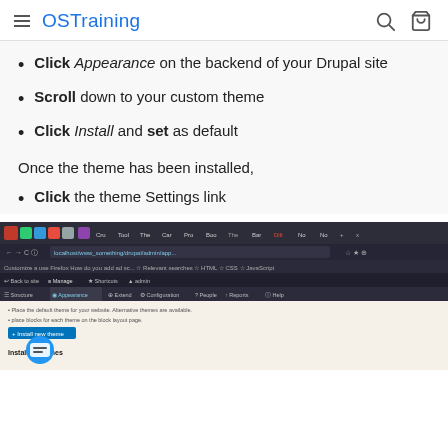OSTraining
Click Appearance on the backend of your Drupal site
Scroll down to your custom theme
Click Install and set as default
Once the theme has been installed,
Click the theme Settings link
[Figure (screenshot): Screenshot of a Drupal admin browser interface showing the Appearance menu tab selected, with options including 'Install new themes' button and 'Installed themes' section visible.]